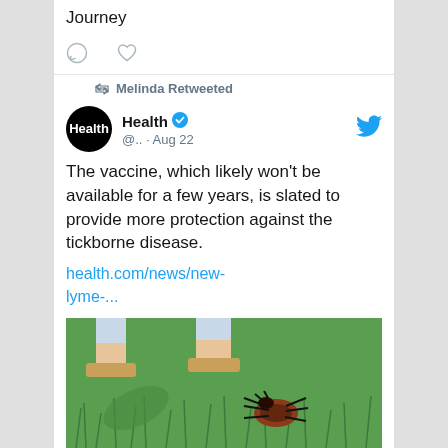Journey
Melinda Retweeted
Health @.. · Aug 22
The vaccine, which likely won't be available for a few years, is slated to provide more protection against the tickborne disease.
health.com/news/new-lyme-...
[Figure (photo): Photo of a tick on grass with person's feet/sandals visible in background]